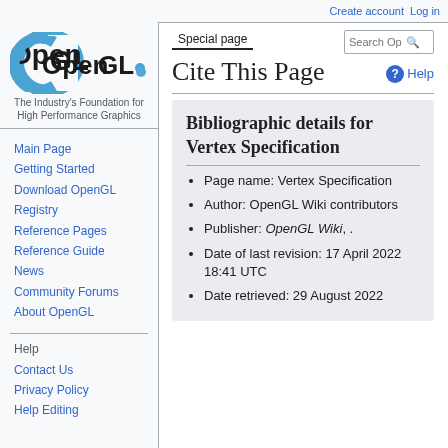Create account  Log in
[Figure (logo): OpenGL logo with tagline: The Industry's Foundation for High Performance Graphics]
Main Page
Getting Started
Download OpenGL
Registry
Reference Pages
Reference Guide
News
Community Forums
About OpenGL
Help
Contact Us
Privacy Policy
Help Editing
Cite This Page
Bibliographic details for Vertex Specification
Page name: Vertex Specification
Author: OpenGL Wiki contributors
Publisher: OpenGL Wiki, .
Date of last revision: 17 April 2022 18:41 UTC
Date retrieved: 29 August 2022